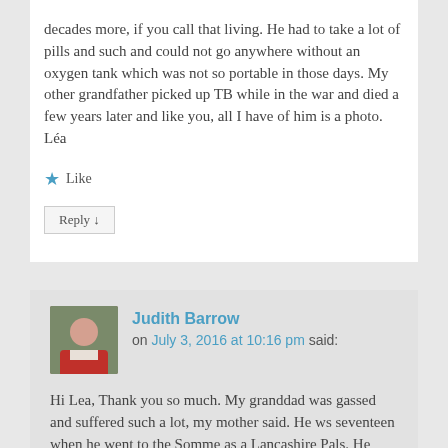decades more, if you call that living. He had to take a lot of pills and such and could not go anywhere without an oxygen tank which was not so portable in those days. My other grandfather picked up TB while in the war and died a few years later and like you, all I have of him is a photo. Léa
★ Like
Reply ↓
Judith Barrow
on July 3, 2016 at 10:16 pm said:
Hi Lea, Thank you so much. My granddad was gassed and suffered such a lot, my mother said. He ws seventeen when he went to the Somme as a Lancashire Pals. He died in the fities. I so appreciate your re blog.Jx